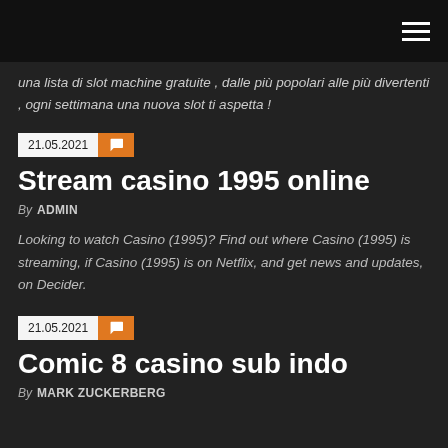una lista di slot machine gratuite , dalle più popolari alle più divertenti , ogni settimana una nuova slot ti aspetta !
21.05.2021
Stream casino 1995 online
By ADMIN
Looking to watch Casino (1995)? Find out where Casino (1995) is streaming, if Casino (1995) is on Netflix, and get news and updates, on Decider.
21.05.2021
Comic 8 casino sub indo
By MARK ZUCKERBERG